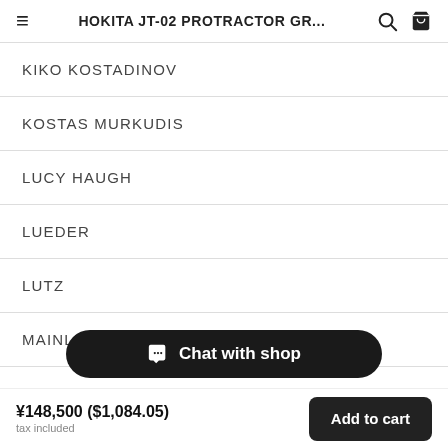HOKITA JT-02 PROTRACTOR GR...
KIKO KOSTADINOV
KOSTAS MURKUDIS
LUCY HAUGH
LUEDER
LUTZ
MAINLINE: B...
MAHARISHI
Chat with shop
¥148,500 ($1,084.05) tax included | Add to cart